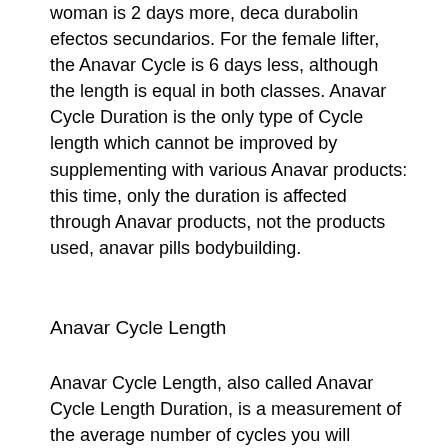woman is 2 days more, deca durabolin efectos secundarios. For the female lifter, the Anavar Cycle is 6 days less, although the length is equal in both classes. Anavar Cycle Duration is the only type of Cycle length which cannot be improved by supplementing with various Anavar products: this time, only the duration is affected through Anavar products, not the products used, anavar pills bodybuilding.
Anavar Cycle Length
Anavar Cycle Length, also called Anavar Cycle Length Duration, is a measurement of the average number of cycles you will develop on Anavar, deca durabolin joints. This value is the amount of time you must spend in the training environment. On most anavars a shorter cycle length is generally preferred, so a 14-week cycle is ideal for a